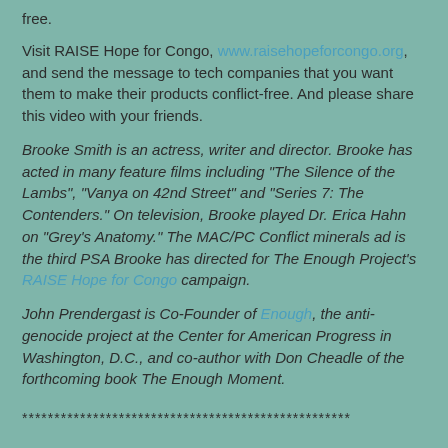free.
Visit RAISE Hope for Congo, www.raisehopeforcongo.org, and send the message to tech companies that you want them to make their products conflict-free. And please share this video with your friends.
Brooke Smith is an actress, writer and director. Brooke has acted in many feature films including "The Silence of the Lambs", "Vanya on 42nd Street" and "Series 7: The Contenders." On television, Brooke played Dr. Erica Hahn on "Grey's Anatomy." The MAC/PC Conflict minerals ad is the third PSA Brooke has directed for The Enough Project's RAISE Hope for Congo campaign.
John Prendergast is Co-Founder of Enough, the anti-genocide project at the Center for American Progress in Washington, D.C., and co-author with Don Cheadle of the forthcoming book The Enough Moment.
***************************************************